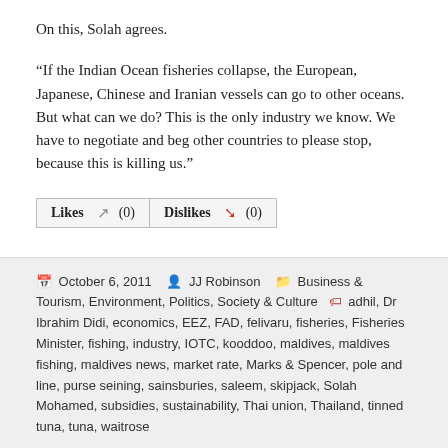On this, Solah agrees.
“If the Indian Ocean fisheries collapse, the European, Japanese, Chinese and Iranian vessels can go to other oceans. But what can we do? This is the only industry we know. We have to negotiate and beg other countries to please stop, because this is killing us.”
Likes (0)  Dislikes (0)
October 6, 2011  JJ Robinson  Business & Tourism, Environment, Politics, Society & Culture  adhil, Dr Ibrahim Didi, economics, EEZ, FAD, felivaru, fisheries, Fisheries Minister, fishing, industry, IOTC, kooddoo, maldives, maldives fishing, maldives news, market rate, Marks & Spencer, pole and line, purse seining, sainsburies, saleem, skipjack, Solah Mohamed, subsidies, sustainability, Thai union, Thailand, tinned tuna, tuna, waitrose